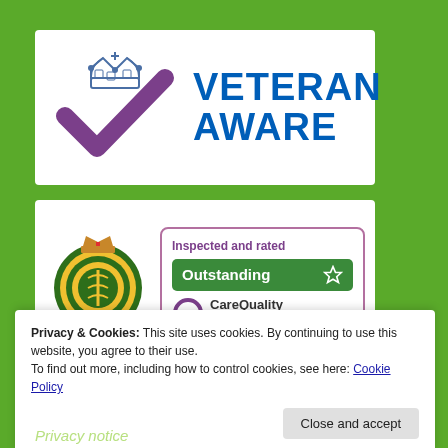[Figure (logo): Veteran Aware logo: purple checkmark with royal crown above it, and bold blue text reading VETERAN AWARE on the right]
[Figure (logo): Midlands Ambulance Service badge on left. CQC inspection panel on right: 'Inspected and rated', green 'Outstanding' bar with star icon, and Care Quality Commission logo with purple Q symbol.]
Privacy & Cookies: This site uses cookies. By continuing to use this website, you agree to their use.
To find out more, including how to control cookies, see here: Cookie Policy
Close and accept
Privacy notice